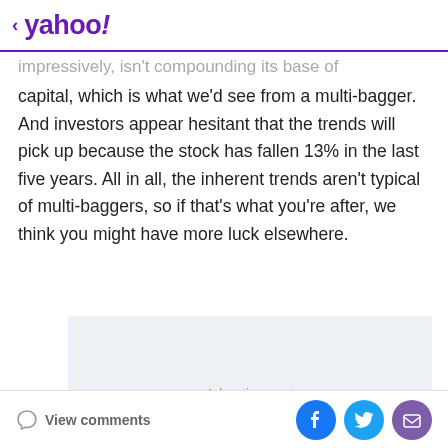< yahoo!
impressively, isn't compounding its base of capital, which is what we'd see from a multi-bagger. And investors appear hesitant that the trends will pick up because the stock has fallen 13% in the last five years. All in all, the inherent trends aren't typical of multi-baggers, so if that's what you're after, we think you might have more luck elsewhere.
[Figure (other): Advertisement placeholder box]
View comments